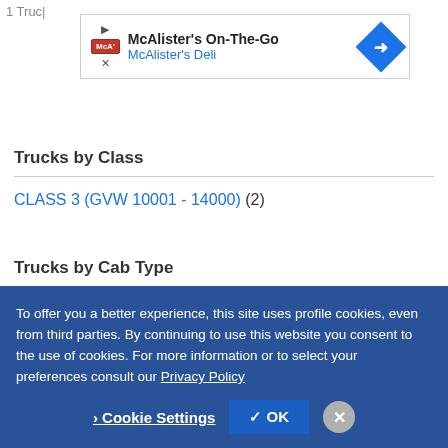1 Truc
[Figure (screenshot): McAlister's On-The-Go ad banner with McAlister's Deli subtitle and blue navigation arrow icon]
Trucks by Class
CLASS 3 (GVW 10001 - 14000) (2)
Trucks by Cab Type
Standard Cab (2)
To offer you a better experience, this site uses profile cookies, even from third parties. By continuing to use this website you consent to the use of cookies. For more information or to select your preferences consult our Privacy Policy